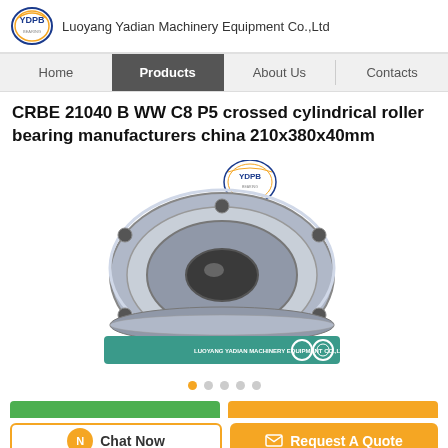Luoyang Yadian Machinery Equipment Co.,Ltd
Home | Products | About Us | Contacts
CRBE 21040 B WW C8 P5 crossed cylindrical roller bearing manufacturers china 210x380x40mm
[Figure (photo): Photo of a crossed cylindrical roller bearing (CRBE 21040 B WW C8 P5), circular silver metallic ring with bolt holes, shown from top angle. YDPB logo visible above. Teal banner with company name and navigation dots at bottom.]
Chat Now | Request A Quote